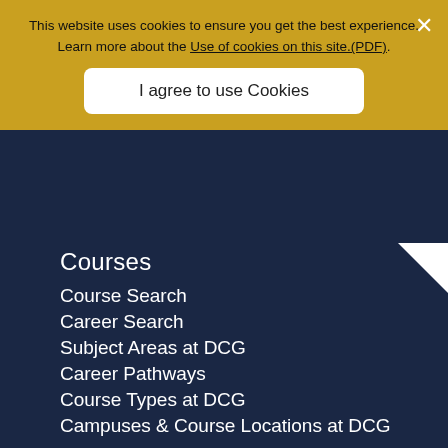This website uses cookies to ensure you get the best experience. Learn more about the Use of cookies on this site.(PDF).
I agree to use Cookies
Courses
Course Search
Career Search
Subject Areas at DCG
Career Pathways
Course Types at DCG
Campuses & Course Locations at DCG
Download a Prospectus
Chart Your Future
Students
Student Support
Student Services
Login to inTouch